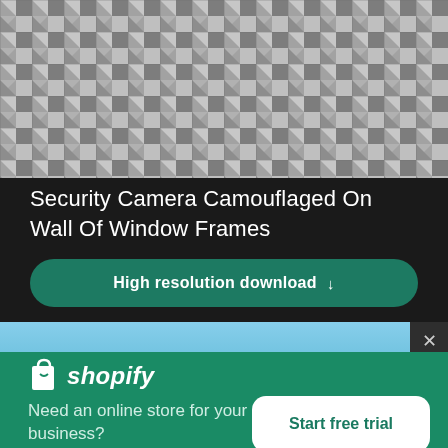[Figure (photo): Black and white photograph of a geometric patterned building facade with repeating angular window frames or relief elements creating a dense grid-like texture]
Security Camera Camouflaged On Wall Of Window Frames
High resolution download ↓
[Figure (photo): Partially visible image with blue sky background, obscured by a Shopify advertisement overlay]
shopify
Need an online store for your business?
Start free trial